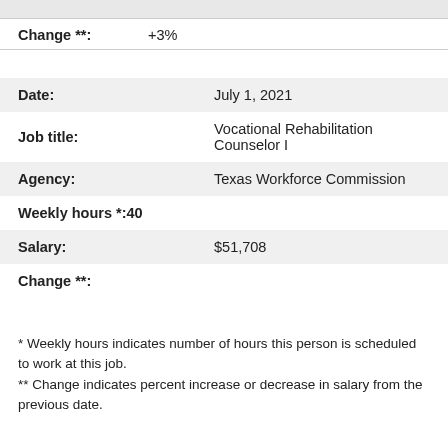Change **: +3%
| Field | Value |
| --- | --- |
| Date: | July 1, 2021 |
| Job title: | Vocational Rehabilitation Counselor I |
| Agency: | Texas Workforce Commission |
| Weekly hours *: | 40 |
| Salary: | $51,708 |
| Change **: |  |
* Weekly hours indicates number of hours this person is scheduled to work at this job.
** Change indicates percent increase or decrease in salary from the previous date.